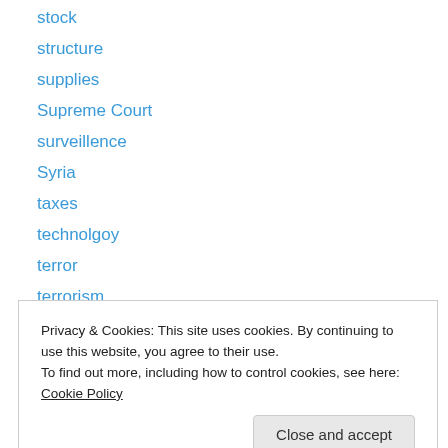stock
structure
supplies
Supreme Court
surveillence
Syria
taxes
technolgoy
terror
terrorism
Terrorist groups
thought
Toyota
Privacy & Cookies: This site uses cookies. By continuing to use this website, you agree to their use.
To find out more, including how to control cookies, see here: Cookie Policy
Close and accept